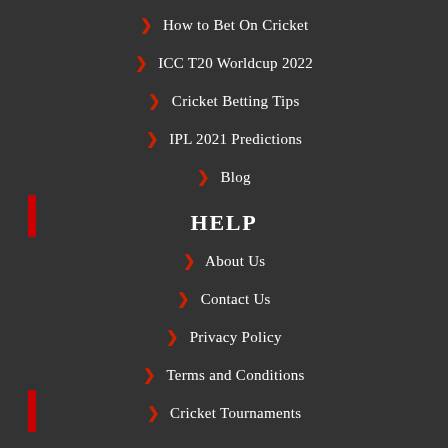How to Bet On Cricket
ICC T20 Worldcup 2022
Cricket Betting Tips
IPL 2021 Predictions
Blog
HELP
About Us
Contact Us
Privacy Policy
Terms and Conditions
Cricket Tournaments
GET CONNECTED
[Figure (other): Social media icons row: Facebook, Instagram, Twitter/X, YouTube, Telegram, and one more icon]